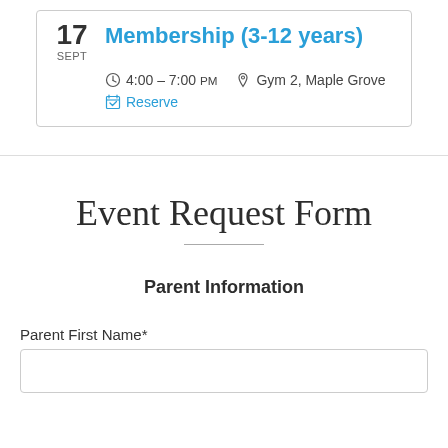17 SEPT — Membership (3-12 years)
4:00 – 7:00 PM   Gym 2, Maple Grove
Reserve
Event Request Form
Parent Information
Parent First Name*